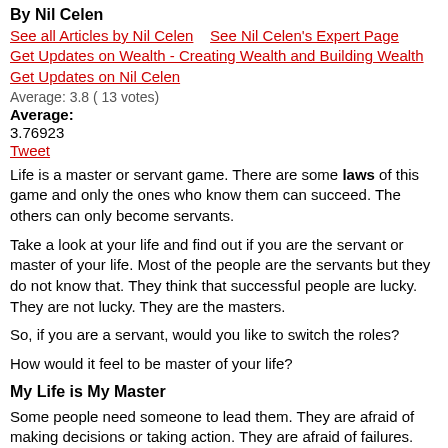By Nil Celen
See all Articles by Nil Celen   See Nil Celen's Expert Page   Get Updates on Wealth - Creating Wealth and Building Wealth   Get Updates on Nil Celen
Average: 3.8 ( 13 votes)
Average:
3.76923
Tweet
Life is a master or servant game. There are some laws of this game and only the ones who know them can succeed. The others can only become servants.
Take a look at your life and find out if you are the servant or master of your life. Most of the people are the servants but they do not know that. They think that successful people are lucky. They are not lucky. They are the masters.
So, if you are a servant, would you like to switch the roles?
How would it feel to be master of your life?
My Life is My Master
Some people need someone to lead them. They are afraid of making decisions or taking action. They are afraid of failures. They have no self confidence . Interestingly, they are happy with their lives. They are the servants of their lives. Do you know why?
They do not choose to be the servant. They only do not know how to